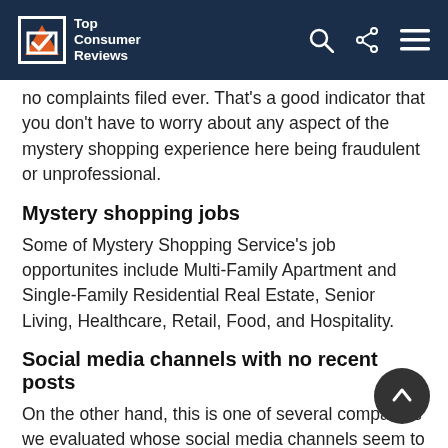Top Consumer Reviews
no complaints filed ever. That's a good indicator that you don't have to worry about any aspect of the mystery shopping experience here being fraudulent or unprofessional.
Mystery shopping jobs
Some of Mystery Shopping Service's job opportunites include Multi-Family Apartment and Single-Family Residential Real Estate, Senior Living, Healthcare, Retail, Food, and Hospitality.
Social media channels with no recent posts
On the other hand, this is one of several companies we evaluated whose social media channels seem to have gone radio silent at the end of 2021. Why offer links to your Facebook, Twitter, and LinkedIn if